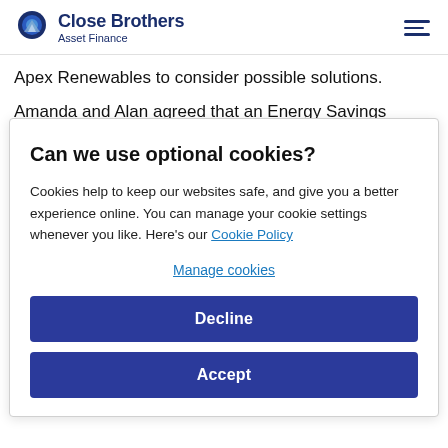Close Brothers Asset Finance
Apex Renewables to consider possible solutions.
Amanda and Alan agreed that an Energy Savings Company (ESCO) deal would be best suited, whereby the
Can we use optional cookies?
Cookies help to keep our websites safe, and give you a better experience online. You can manage your cookie settings whenever you like. Here's our Cookie Policy
Manage cookies
Decline
Accept